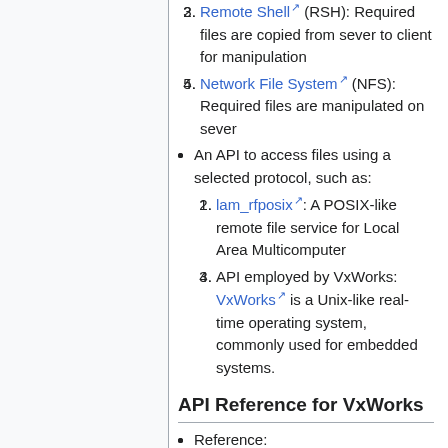Required files are copied from sever to client for manipulation
Remote Shell (RSH): Required files are copied from sever to client for manipulation
Network File System (NFS): Required files are manipulated on sever
An API to access files using a selected protocol, such as:
lam_rfposix: A POSIX-like remote file service for Local Area Multicomputer
API employed by VxWorks: VxWorks is a Unix-like real-time operating system, commonly used for embedded systems.
API Reference for VxWorks
Reference: